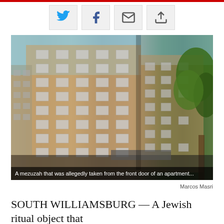[Figure (photo): Social sharing buttons: Twitter, Facebook, Email, and Share icons in gray boxes]
[Figure (photo): Photograph of a tall brick apartment building in South Williamsburg, with a tree on the right side. Blue sky visible in upper left.]
A mezuzah that was allegedly taken from the front door of an apartment...
Marcos Masri
SOUTH WILLIAMSBURG — A Jewish ritual object that